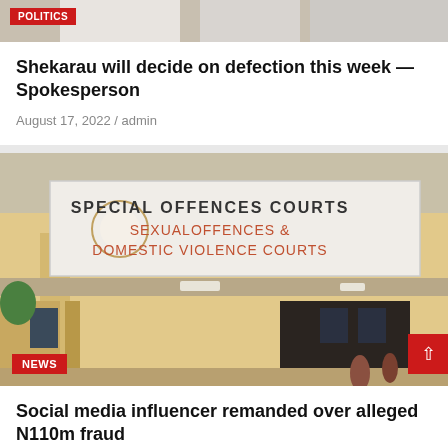[Figure (photo): Top of page showing partial photo with POLITICS tag overlay, cropped at top]
Shekarau will decide on defection this week — Spokesperson
August 17, 2022 / admin
[Figure (photo): Photo of Special Offences Courts building sign reading SPECIAL OFFENCES COURTS / SEXUALOFFENCES & DOMESTIC VIOLENCE COURTS, with NEWS tag overlay and scroll-up button]
Social media influencer remanded over alleged N110m fraud